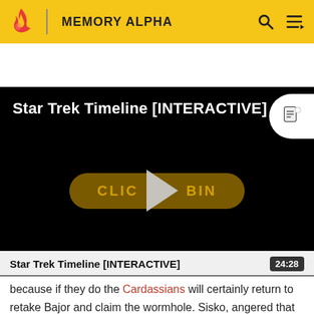MEMORY ALPHA
[Figure (screenshot): Video player showing 'Star Trek Timeline [INTERACTIVE]' with a black background, a play button arrow overlay, and a 'CLICK TO BEGIN' button in dark gold color.]
Star Trek Timeline [INTERACTIVE]
24:28
because if they do the Cardassians will certainly return to retake Bajor and claim the wormhole. Sisko, angered that all his apparent efforts to bridge the gulf with the